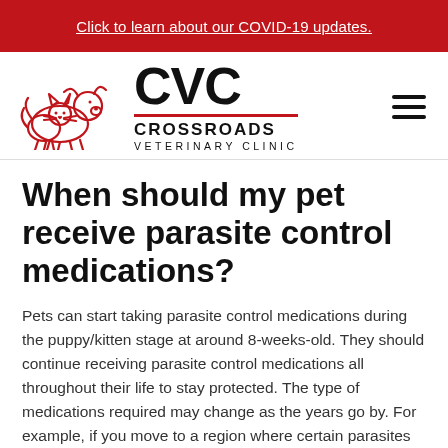Click to learn about our COVID-19 updates.
[Figure (logo): CVC Crossroads Veterinary Clinic logo with red outline illustration of a dog and cat sitting together beside bold CVC text and CROSSROADS VETERINARY CLINIC wordmark]
When should my pet receive parasite control medications?
Pets can start taking parasite control medications during the puppy/kitten stage at around 8-weeks-old. They should continue receiving parasite control medications all throughout their life to stay protected. The type of medications required may change as the years go by. For example, if you move to a region where certain parasites are more prevalent, they will need